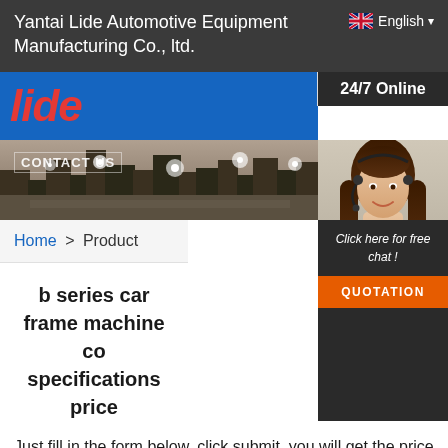Yantai Lide Automotive Equipment Manufacturing Co., ltd.
[Figure (logo): Lide company logo in red italic bold text on blue background]
[Figure (photo): City skyline banner with text CONTACT US overlaid, and sidebar showing 24/7 Online with a customer service representative photo and click here for free chat and QUOTATION button]
Home > Product
b series car frame machine co... specifications price
Just fill in the form below, click submit, you will get the price list, and we will contact you within one working day. Please also feel free to contact us via email or phone. (* is required).